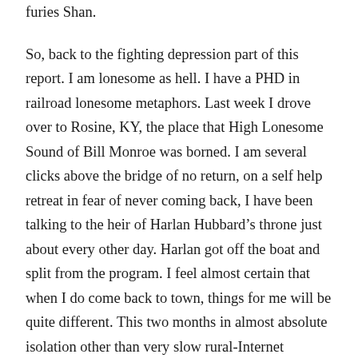furies Shan.
So, back to the fighting depression part of this report. I am lonesome as hell. I have a PHD in railroad lonesome metaphors. Last week I drove over to Rosine, KY, the place that High Lonesome Sound of Bill Monroe was borned. I am several clicks above the bridge of no return, on a self help retreat in fear of never coming back, I have been talking to the heir of Harlan Hubbard’s throne just about every other day. Harlan got off the boat and split from the program. I feel almost certain that when I do come back to town, things for me will be quite different. This two months in almost absolute isolation other than very slow rural-Internet rendered social media has been a blessing in disguise. Duality. It takes two to tango and there is certainly two sides to every story. I think today’s medicine will be to overdose on some Sun Ra! Lanquidity to be exact. “There